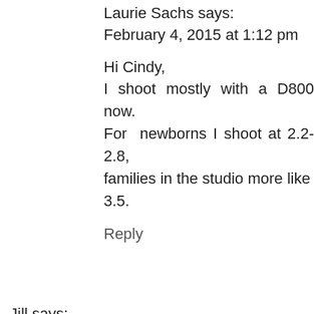Laurie Sachs says:
February 4, 2015 at 1:12 pm
Hi Cindy,
I shoot mostly with a D800 now. For newborns I shoot at 2.2-2.8, families in the studio more like 3.5.
Reply
Jill says:
February 5, 2015 at 10:27 pm
It is amazing that you answer everyone's questions! I'm in the process of converting my garage into a studio and